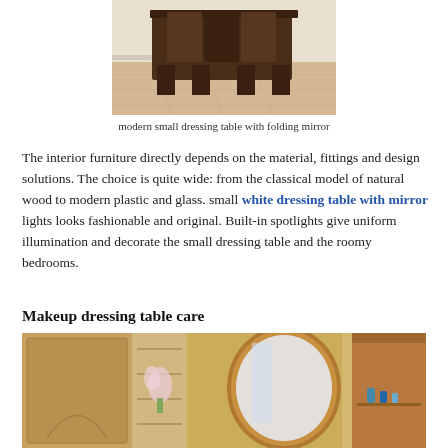[Figure (photo): Photo of a modern small dark wood dressing table with folding mirror sections, placed on light wood floor near a white wall]
modern small dressing table with folding mirror
The interior furniture directly depends on the material, fittings and design solutions. The choice is quite wide: from the classical model of natural wood to modern plastic and glass. small white dressing table with mirror lights looks fashionable and original. Built-in spotlights give uniform illumination and decorate the small dressing table and the roomy bedrooms.
Makeup dressing table care
[Figure (photo): Photo of a dressing table setup with an oval mirror framed in warm wood, decorative wall texture in background, shelving unit on the left with flowers, and small items on the side shelf]